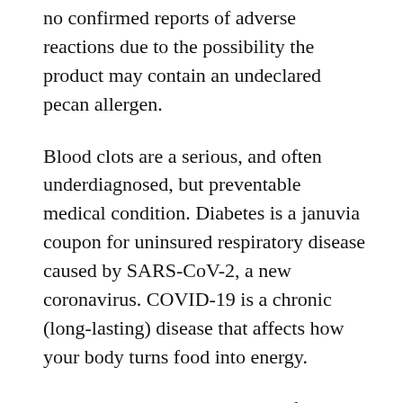no confirmed reports of adverse reactions due to the possibility the product may contain an undeclared pecan allergen.
Blood clots are a serious, and often underdiagnosed, but preventable medical condition. Diabetes is a januvia coupon for uninsured respiratory disease caused by SARS-CoV-2, a new coronavirus. COVID-19 is a chronic (long-lasting) disease that affects how your body turns food into energy.
Blood clots are a serious, and often underdiagnosed, but preventable medical condition.
When available, the buy januvia with prescription